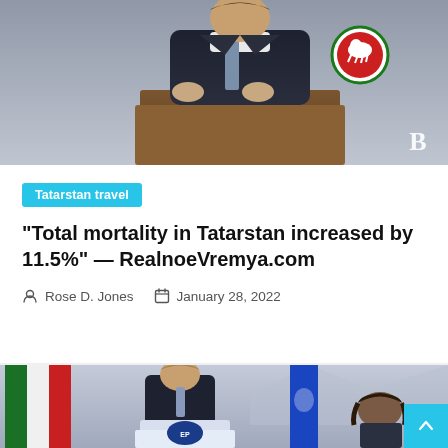[Figure (photo): Man in dark suit standing at a brown wooden podium with Tatarstan emblem (green circle with white horse on red background). White letter B watermark visible in bottom right corner of image.]
Tatarstan travel
“Total mortality in Tatarstan increased by 11.5%” — RealnoeVremya.com
Rose D. Jones   January 28, 2022
[Figure (photo): Man in dark jacket speaking at a white podium with United Russia (Edinaya Rossiya) party logo. Tatarstan flag (green, white, red stripes) on the left, large blue United Russia flag on the right. A woman is visible in the background on the right side.]